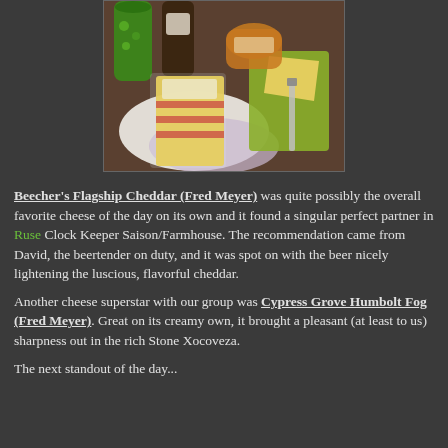[Figure (photo): Photo of Beecher's Flagship Cheddar cheese in packaging on a white plate, with a green bottle, beer bottle, honey jar, cutting board, and knife visible in the background.]
Beecher's Flagship Cheddar (Fred Meyer) was quite possibly the overall favorite cheese of the day on its own and it found a singular perfect partner in Ruse Clock Keeper Saison/Farmhouse. The recommendation came from David, the beertender on duty, and it was spot on with the beer nicely lightening the luscious, flavorful cheddar.
Another cheese superstar with our group was Cypress Grove Humbolt Fog (Fred Meyer). Great on its creamy own, it brought a pleasant (at least to us) sharpness out in the rich Stone Xocoveza.
The next standout of the day...